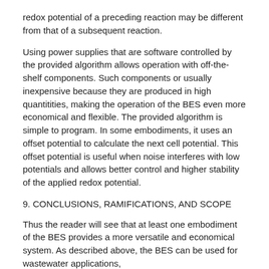redox potential of a preceding reaction may be different from that of a subsequent reaction.
Using power supplies that are software controlled by the provided algorithm allows operation with off-the-shelf components. Such components or usually inexpensive because they are produced in high quantitities, making the operation of the BES even more economical and flexible. The provided algorithm is simple to program. In some embodiments, it uses an offset potential to calculate the next cell potential. This offset potential is useful when noise interferes with low potentials and allows better control and higher stability of the applied redox potential.
9. CONCLUSIONS, RAMIFICATIONS, AND SCOPE
Thus the reader will see that at least one embodiment of the BES provides a more versatile and economical system. As described above, the BES can be used for wastewater applications,
electrosynthesis, or decontamination. They uses inexpensive materials, such as standard steel pipes as outer electrodes and housings, granular filling materials for